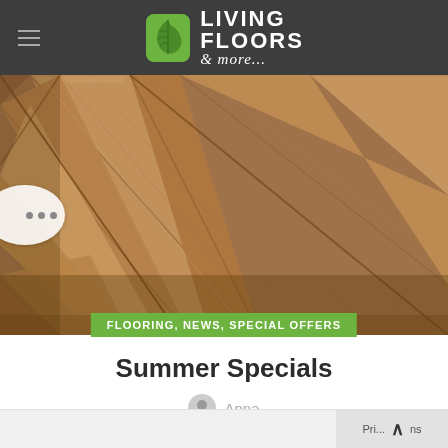Living Floors & more...
[Figure (photo): Close-up photograph of a herringbone pattern hardwood floor with warm brown oak wood planks arranged at angles]
FLOORING, NEWS, SPECIAL OFFERS
Summer Specials
Anna